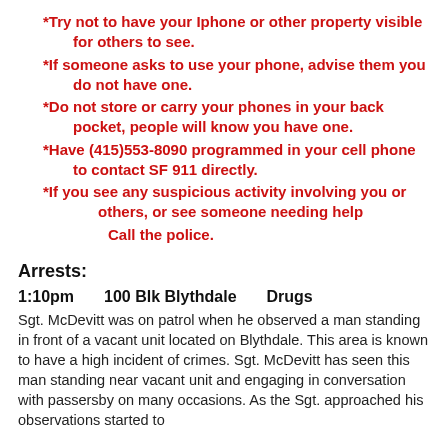*Try not to have your Iphone or other property visible for others to see.
*If someone asks to use your phone, advise them you do not have one.
*Do not store or carry your phones in your back pocket, people will know you have one.
*Have (415)553-8090 programmed in your cell phone to contact SF 911 directly.
*If you see any suspicious activity involving you or others, or see someone needing help
Call the police.
Arrests:
1:10pm    100 Blk Blythdale    Drugs
Sgt. McDevitt was on patrol when he observed a man standing in front of a vacant unit located on Blythdale. This area is known to have a high incident of crimes. Sgt. McDevitt has seen this man standing near vacant unit and engaging in conversation with passersby on many occasions. As the Sgt. approached his observations started to...